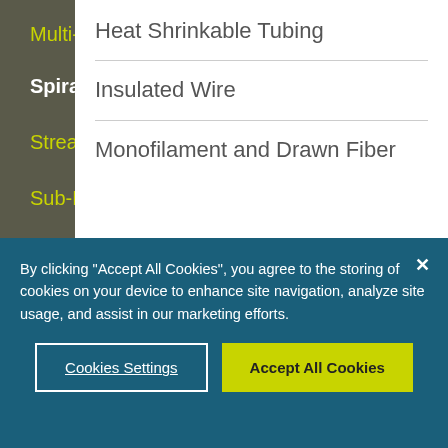Multi-Lumen Tubing
Spiral Cut Tubing
StreamLiner™ Series
Sub-Lite-Wall® Tubing
Heat Shrinkable Tubing
Insulated Wire
Monofilament and Drawn Fiber
By clicking "Accept All Cookies", you agree to the storing of cookies on your device to enhance site navigation, analyze site usage, and assist in our marketing efforts.
Cookies Settings
Accept All Cookies